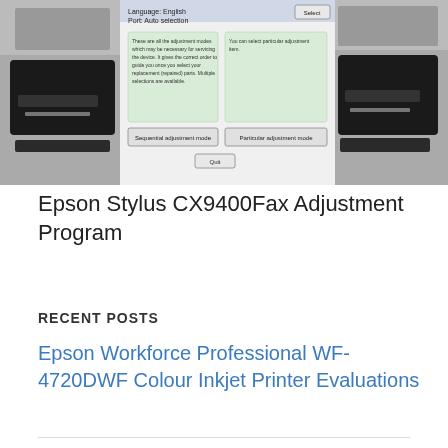[Figure (screenshot): Screenshot of Epson Stylus CX9400Fax Adjustment Program dialog showing Sequential adjustment mode and Particular adjustment mode buttons, with printer hardware images on left and right sides.]
Epson Stylus CX9400Fax Adjustment Program
RECENT POSTS
Epson Workforce Professional WF-4720DWF Colour Inkjet Printer Evaluations